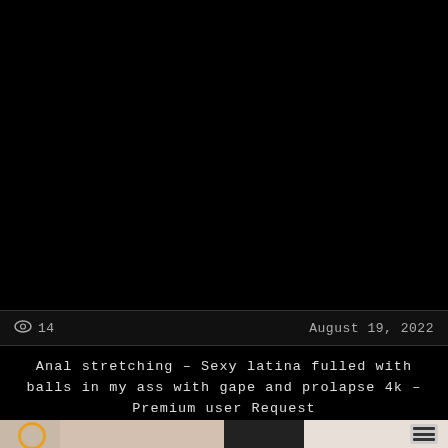[Figure (photo): Black video player area]
👁 14    August 19, 2022
Anal stretching – Sexy latina fulled with balls in my ass with gape and prolapse 4k – Premium user Request
[Figure (photo): Two video thumbnail previews side by side at bottom of page]